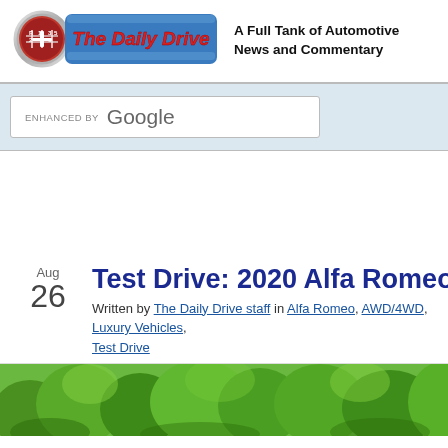The Daily Drive — A Full Tank of Automotive News and Commentary
[Figure (logo): The Daily Drive logo with gear shift knob and blue banner]
A Full Tank of Automotive News and Commentary
[Figure (screenshot): Enhanced by Google search bar]
Test Drive: 2020 Alfa Romeo Giul…
Written by The Daily Drive staff in Alfa Romeo, AWD/4WD, Luxury Vehicles, Test Drive
[Figure (photo): Green foliage / trees in background of car photo]